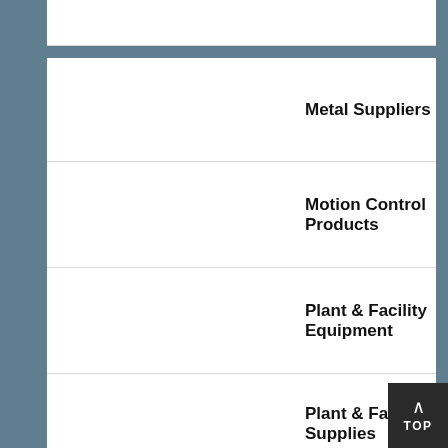Metal Suppliers
Motion Control Products
Plant & Facility Equipment
Plant & Facility Supplies
Plastic Molding Processes
[Figure (illustration): Circular dark-blue thumbnail image showing a plastic molded object in green/white tones]